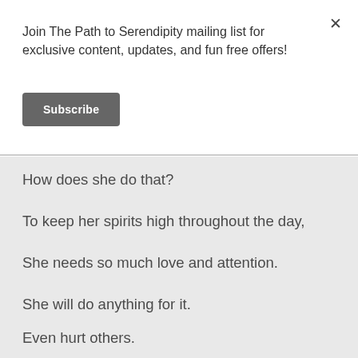Join The Path to Serendipity mailing list for exclusive content, updates, and fun free offers!
Subscribe
How does she do that?
To keep her spirits high throughout the day,
She needs so much love and attention.
She will do anything for it.
Even hurt others.
What if we give her the attention she seeks,